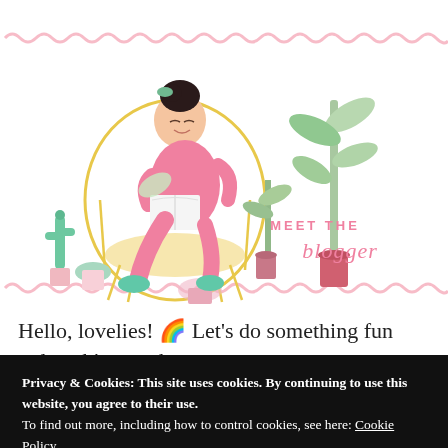[Figure (illustration): Illustrated woman with dark hair in a bun wearing pink outfit, sitting in a yellow wicker chair reading a book, surrounded by potted plants and cacti. Text reads 'MEET THE blogger' in pink. Decorative pink wavy lines top and bottom.]
Hello, lovelies! 🌈 Let's do something fun today, this month is my birthday month so I want to do something different. I
Privacy & Cookies: This site uses cookies. By continuing to use this website, you agree to their use.
To find out more, including how to control cookies, see here: Cookie Policy
Close and accept
b f i i t ti 🌸 id (🎂🎂)